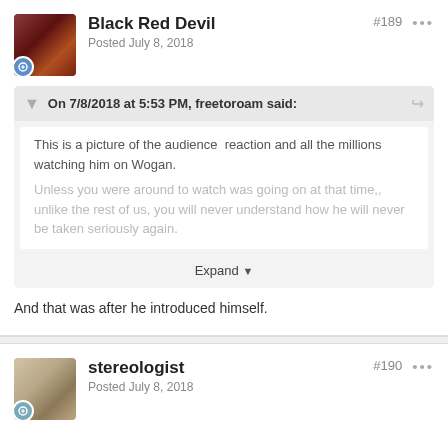Black Red Devil · Posted July 8, 2018 · #189
On 7/8/2018 at 5:53 PM, freetoroam said:
This is a picture of the audience  reaction and all the millions watching him on Wogan.

Unless you were around to watch was going on at that time,, unlike the rest of us, you will never understand how he will never be taken seriously again.
Expand
And that was after he introduced himself.
stereologist · Posted July 8, 2018 · #190